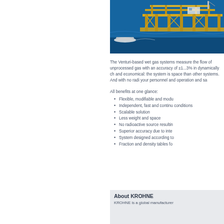[Figure (photo): Offshore oil platform/rig with yellow structure over blue sea water]
The Venturi-based wet gas systems measure the flow of unprocessed gas with an accuracy of ±1...3% in dynamically changing and economical: the system is space saving than other systems. And with no radioactive your personnel and operation and sa
All benefits at one glance:
Flexible, modifiable and modu
Independent, fast and continu conditions
Scalable solution
Less weight and space
No radioactive source resultin
Superior accuracy due to inte
System designed according to
Fraction and density tables fo
About KROHNE
KROHNE is a global manufacturer